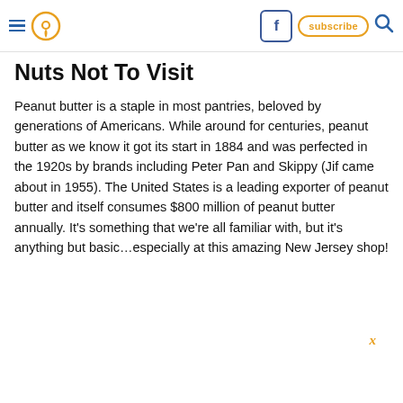≡ [location pin icon] [facebook icon] subscribe [search icon]
Nuts Not To Visit
Peanut butter is a staple in most pantries, beloved by generations of Americans. While around for centuries, peanut butter as we know it got its start in 1884 and was perfected in the 1920s by brands including Peter Pan and Skippy (Jif came about in 1955). The United States is a leading exporter of peanut butter and itself consumes $800 million of peanut butter annually. It's something that we're all familiar with, but it's anything but basic…especially at this amazing New Jersey shop!